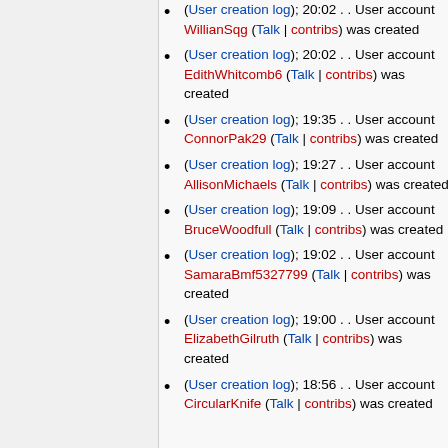(User creation log); 20:02 . . User account WillianSqg (Talk | contribs) was created
(User creation log); 20:02 . . User account EdithWhitcomb6 (Talk | contribs) was created
(User creation log); 19:35 . . User account ConnorPak29 (Talk | contribs) was created
(User creation log); 19:27 . . User account AllisonMichaels (Talk | contribs) was created
(User creation log); 19:09 . . User account BruceWoodfull (Talk | contribs) was created
(User creation log); 19:02 . . User account SamaraBmf5327799 (Talk | contribs) was created
(User creation log); 19:00 . . User account ElizabethGilruth (Talk | contribs) was created
(User creation log); 18:56 . . User account CircularKnife (Talk | contribs) was created